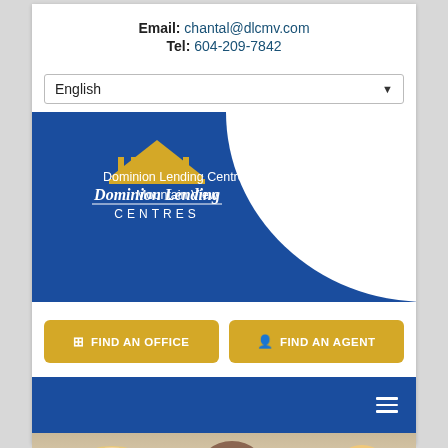Email: chantal@dlcmv.com
Tel: 604-209-7842
English
[Figure (screenshot): Dominion Lending Centres logo with blue background and white curve, showing a gold classical building/columns icon above the text 'DOMINION LENDING CENTRES']
Dominion Lending Centres Mountain View
[Figure (infographic): Two yellow buttons: 'FIND AN OFFICE' with building icon and 'FIND AN AGENT' with person icon]
[Figure (screenshot): Blue navigation bar with hamburger menu icon (three horizontal lines) on the right]
[Figure (photo): Partial view of people's faces at the bottom of the page - two visible people, one blonde and one dark-skinned]